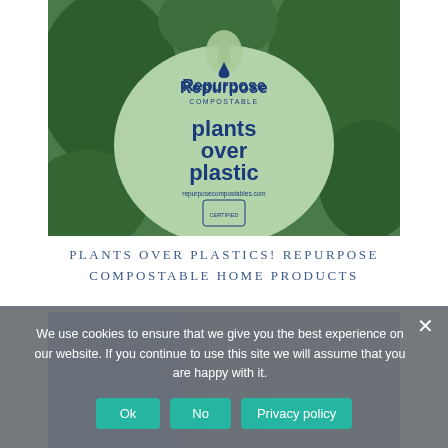[Figure (photo): A hand holding a semi-transparent light green compostable bag with 'Repurpose COMPOSTABLE' logo and text 'plants over plastic' and 'repurposecompostables.com' printed on it, with green foliage in the background.]
PLANTS OVER PLASTICS! REPURPOSE COMPOSTABLE HOME PRODUCTS
[Figure (photo): Partial view of a person wearing denim, blurred background, only partially visible.]
We use cookies to ensure that we give you the best experience on our website. If you continue to use this site we will assume that you are happy with it.